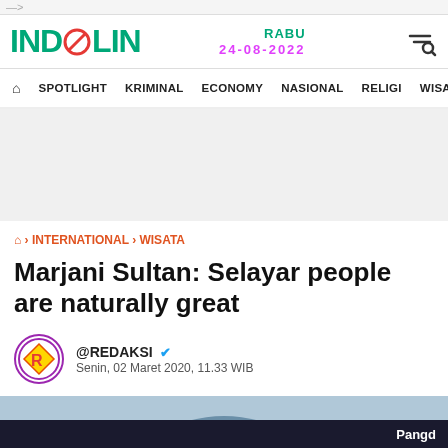INDOLIN — RABU 24-08-2022
SPOTLIGHT | KRIMINAL | ECONOMY | NASIONAL | RELIGI | WISATA | LIFE S
[Figure (other): Gray advertisement banner placeholder]
🏠 › INTERNATIONAL › WISATA
Marjani Sultan: Selayar people are naturally great
@REDAKSI ✓ Senin, 02 Maret 2020, 11.33 WIB
[Figure (photo): Partial photo of a person, blue/grey tones, cut off at bottom of page]
Pangd